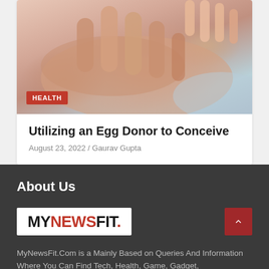[Figure (photo): Close-up photo of adult hands and baby hands together, suggesting fertility/parenting theme. Red 'HEALTH' badge overlay in bottom-left.]
Utilizing an Egg Donor to Conceive
August 23, 2022 / Gaurav Gupta
About Us
[Figure (logo): MyNewsFit. logo — MY in black, NEWS in red, FIT. in black, dot in red — on white background]
MyNewsFit.Com is a Mainly Based on Queries And Information Where You Can Find Tech, Health, Game, Gadget,